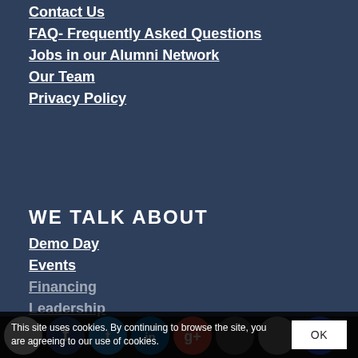Contact Us
FAQ- Frequently Asked Questions
Jobs in our Alumni Network
Our Team
Privacy Policy
WE TALK ABOUT
Demo Day
Events
Financing
Leadership
Life at an Accel...
Marketing
Personal
This site uses cookies. By continuing to browse the site, you are agreeing to our use of cookies.